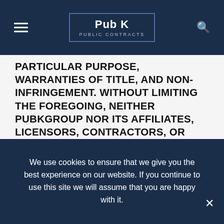Pub K PUBLIC CONTRACTS
PARTICULAR PURPOSE, WARRANTIES OF TITLE, AND NON-INFRINGEMENT. WITHOUT LIMITING THE FOREGOING, NEITHER PUBKGROUP NOR ITS AFFILIATES, LICENSORS, CONTRACTORS, OR AGENTS MAKE ANY WARRANTY THAT (1) THE PUBKGROUP SERVICE WILL MEET YOUR REQUIREMENTS; (2) THE PUBKGROUP SERVICE WILL BE UNINTERRUPTED, TIMELY, SECURE, OR ERROR-FREE; (3) THE RESULTS THAT MAY BE OBTAINED FROM THE USE OF
We use cookies to ensure that we give you the best experience on our website. If you continue to use this site we will assume that you are happy with it.